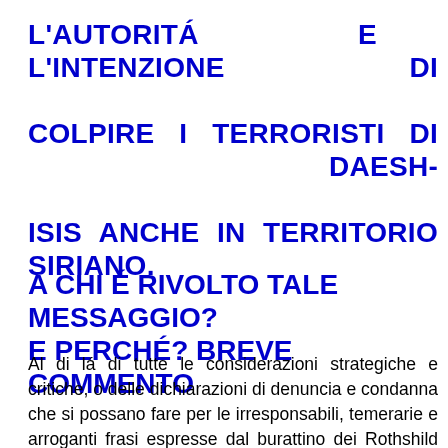L'AUTORITÁ E L'INTENZIONE DI COLPIRE I TERRORISTI DI DAESH-ISIS ANCHE IN TERRITORIO SIRIANO.
A CHI É RIVOLTO TALE MESSAGGIO? E PERCHÉ? BREVE COMMENTO
Al di lá di tutte le considerazioni strategiche e critiche, o delle dichiarazioni di denuncia e condanna che si possano fare per le irresponsabili, temerarie e arroganti frasi espresse dal burattino dei Rothshild collocato alla Casa Bianca, vorremmo solo notare ed evidenziare una cosa. E